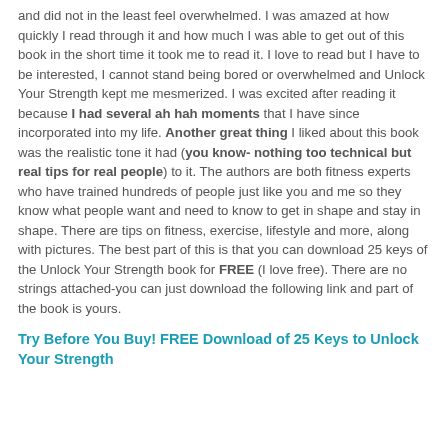and did not in the least feel overwhelmed. I was amazed at how quickly I read through it and how much I was able to get out of this book in the short time it took me to read it. I love to read but I have to be interested, I cannot stand being bored or overwhelmed and Unlock Your Strength kept me mesmerized. I was excited after reading it because I had several ah hah moments that I have since incorporated into my life. Another great thing I liked about this book was the realistic tone it had (you know- nothing too technical but real tips for real people) to it. The authors are both fitness experts who have trained hundreds of people just like you and me so they know what people want and need to know to get in shape and stay in shape. There are tips on fitness, exercise, lifestyle and more, along with pictures. The best part of this is that you can download 25 keys of the Unlock Your Strength book for FREE (I love free). There are no strings attached-you can just download the following link and part of the book is yours.
Try Before You Buy! FREE Download of 25 Keys to Unlock Your Strength